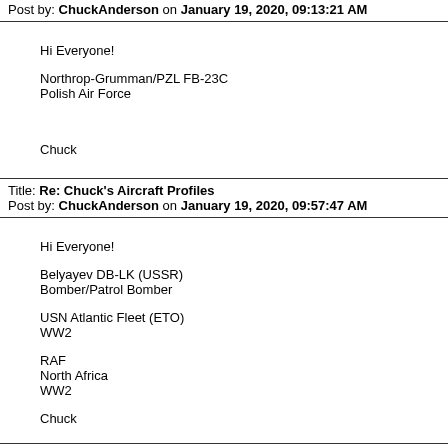Post by: ChuckAnderson on January 19, 2020, 09:13:21 AM
Hi Everyone!

Northrop-Grumman/PZL FB-23C
Polish Air Force


Chuck
Title: Re: Chuck's Aircraft Profiles
Post by: ChuckAnderson on January 19, 2020, 09:57:47 AM
Hi Everyone!

Belyayev DB-LK (USSR)
Bomber/Patrol Bomber

USN Atlantic Fleet (ETO)
WW2

RAF
North Africa
WW2

Chuck
Title: Re: Chuck's Aircraft Profiles